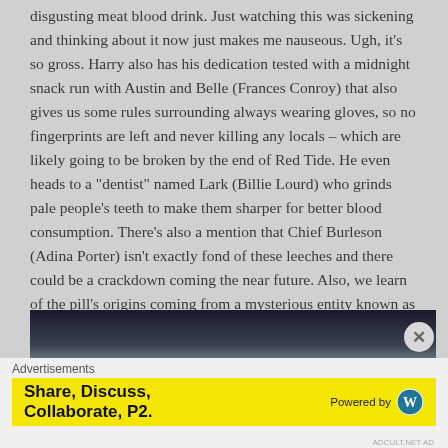disgusting meat blood drink. Just watching this was sickening and thinking about it now just makes me nauseous. Ugh, it's so gross. Harry also has his dedication tested with a midnight snack run with Austin and Belle (Frances Conroy) that also gives us some rules surrounding always wearing gloves, so no fingerprints are left and never killing any locals – which are likely going to be broken by the end of Red Tide. He even heads to a "dentist" named Lark (Billie Lourd) who grinds pale people's teeth to make them sharper for better blood consumption. There's also a mention that Chief Burleson (Adina Porter) isn't exactly fond of these leeches and there could be a crackdown coming the near future. Also, we learn of the pill's origins coming from a mysterious entity known as "The Chemist."
[Figure (photo): Partial view of a person with blonde hair against a dark blurred background]
Advertisements
[Figure (other): Yellow advertisement banner reading 'Share, Discuss, Collaborate, P2.' with 'Powered by' and WordPress logo]